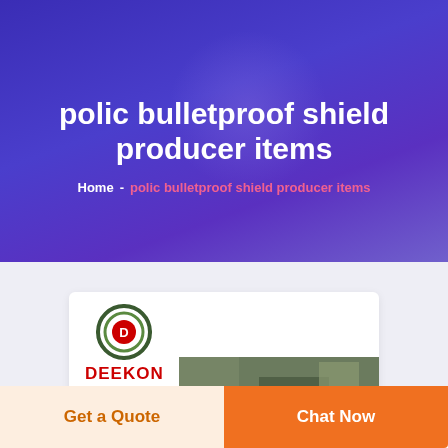polic bulletproof shield producer items
polic bulletproof shield producer items
Home - polic bulletproof shield producer items
[Figure (logo): DEEKON brand logo with circular target icon in green camouflage colors and red D, with red DEEKON text below]
[Figure (photo): Camouflage military gear/product photo partially visible at bottom of card]
Get a Quote
Chat Now